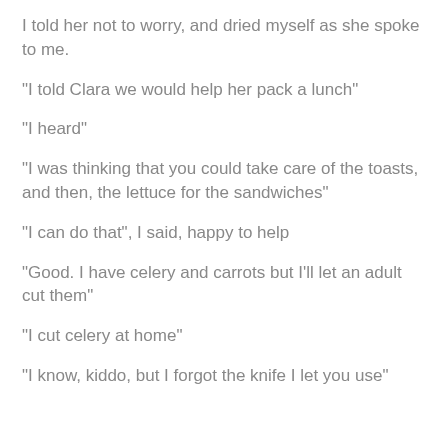I told her not to worry, and dried myself as she spoke to me.
"I told Clara we would help her pack a lunch"
"I heard"
"I was thinking that you could take care of the toasts, and then, the lettuce for the sandwiches"
"I can do that", I said, happy to help
"Good. I have celery and carrots but I'll let an adult cut them"
"I cut celery at home"
"I know, kiddo, but I forgot the knife I let you use"